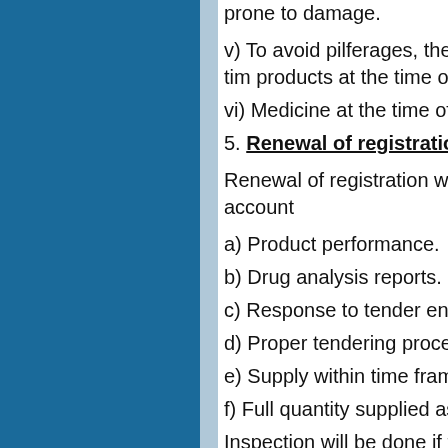prone to damage.
v) To avoid pilferages, the strip/p Railways-- -Not for sale- at the tim products at the time of supply.
vi) Medicine at the time of supply m
5. Renewal of registration:
Renewal of registration will be dom company will be taken into account
a) Product performance.
b) Drug analysis reports.
c) Response to tender enquiries.
d) Proper tendering process followe
e) Supply within time frame or not.
f) Full quantity supplied as per orde
Inspection will be done if there are
6. Time schedule:
Applications with necessary docu